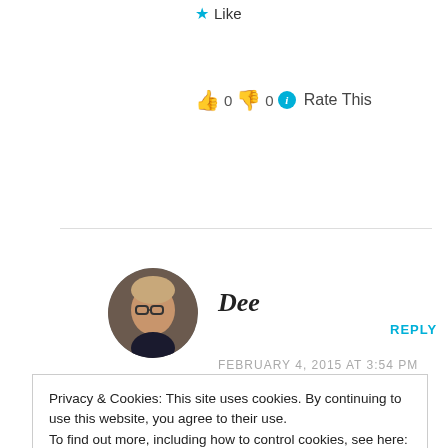Like
👍 0 👎 0 ℹ Rate This
REPLY
[Figure (photo): Circular avatar photo of a woman named Dee with glasses and light hair, dark sweater]
Dee
FEBRUARY 4, 2015 AT 3:54 PM
Privacy & Cookies: This site uses cookies. By continuing to use this website, you agree to their use.
To find out more, including how to control cookies, see here: Cookie Policy
Close and accept
been included, it sold as a novel.